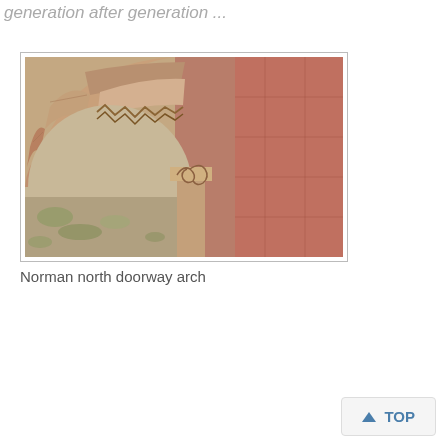generation after generation ...
[Figure (photo): Close-up photograph of a Norman north doorway arch, showing carved sandstone archway with Romanesque decorative details including a capital with scrollwork and zigzag ornamental carving. The stonework shows weathering with lichen and moss.]
Norman north doorway arch